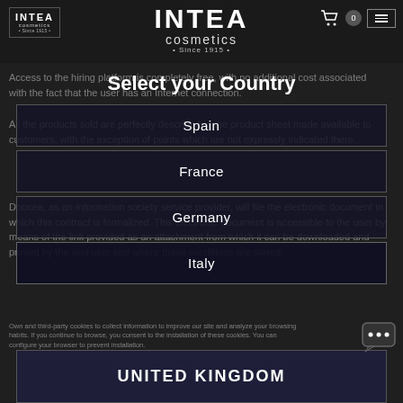[Figure (logo): INTEA cosmetics Since 1915 logo - small version top left]
[Figure (logo): INTEA cosmetics Since 1915 logo - large centered version]
Access to the hiring platform is completely free, with no additional cost associated with the fact that the user has an Internet connection.
All the products sold are perfectly described in the product sheet made available to customers, with the exception of points which are not expressly indicated there.
Doocea, as an information society service provider, will file the electronic document in which this contract is formalized. This electronic document is accessible to the user by means of the link provided as an attachment from which it can be downloaded and printed by the end user and where these conditions are stored.
Select your Country
Spain
France
Germany
Italy
UNITED KINGDOM
Own and third-party cookies to collect information to improve our site and analyze your browsing habits. If you continue to browse, you consent to the installation of these cookies. You can configure your browser to prevent installation.